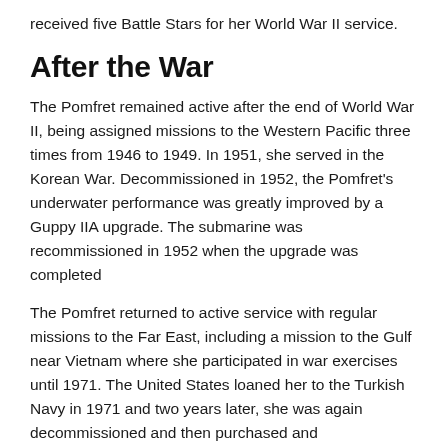received five Battle Stars for her World War II service.
After the War
The Pomfret remained active after the end of World War II, being assigned missions to the Western Pacific three times from 1946 to 1949. In 1951, she served in the Korean War. Decommissioned in 1952, the Pomfret's underwater performance was greatly improved by a Guppy IIA upgrade. The submarine was recommissioned in 1952 when the upgrade was completed
The Pomfret returned to active service with regular missions to the Far East, including a mission to the Gulf near Vietnam where she participated in war exercises until 1971. The United States loaned her to the Turkish Navy in 1971 and two years later, she was again decommissioned and then purchased and commissioned by Turkey. She remained in active service with the Turkish Navy until 1987 under the name Oruc Reis.
Asbestos in Navy Ships